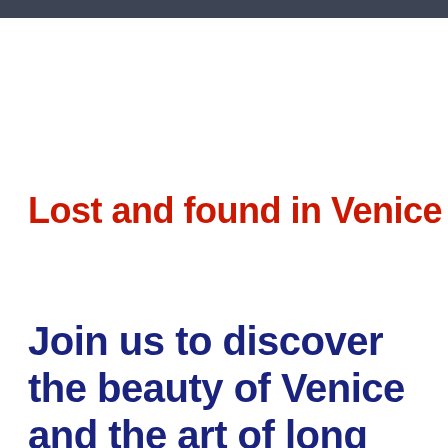Lost and found in Venice
Join us to discover the beauty of Venice and the art of long exposure!